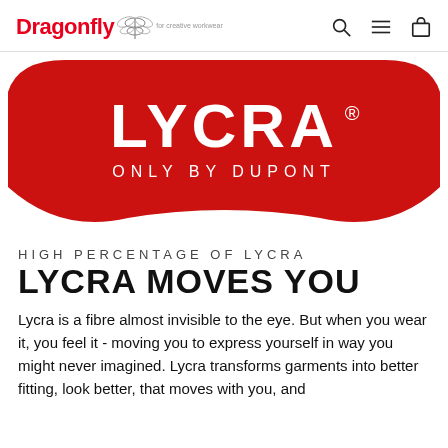Dragonfly — navigation header with search, menu, and bag icons
[Figure (logo): LYCRA® ONLY BY DUPONT logo on a red trapezoid/wave shape background]
HIGH PERCENTAGE OF LYCRA
LYCRA MOVES YOU
Lycra is a fibre almost invisible to the eye. But when you wear it, you feel it - moving you to express yourself in way you might never imagined. Lycra transforms garments into better fitting, look better, that moves with you, and...